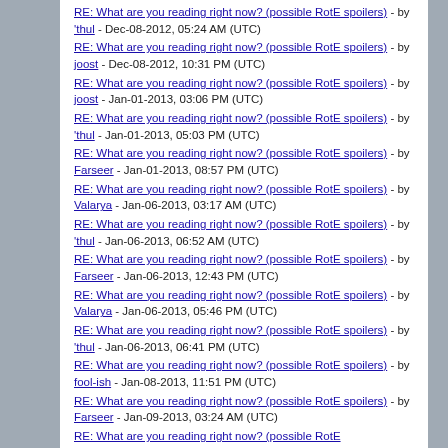RE: What are you reading right now? (possible RotE spoilers) - by 'thul - Dec-08-2012, 05:24 AM (UTC)
RE: What are you reading right now? (possible RotE spoilers) - by joost - Dec-08-2012, 10:31 PM (UTC)
RE: What are you reading right now? (possible RotE spoilers) - by joost - Jan-01-2013, 03:06 PM (UTC)
RE: What are you reading right now? (possible RotE spoilers) - by 'thul - Jan-01-2013, 05:03 PM (UTC)
RE: What are you reading right now? (possible RotE spoilers) - by Farseer - Jan-01-2013, 08:57 PM (UTC)
RE: What are you reading right now? (possible RotE spoilers) - by Valarya - Jan-06-2013, 03:17 AM (UTC)
RE: What are you reading right now? (possible RotE spoilers) - by 'thul - Jan-06-2013, 06:52 AM (UTC)
RE: What are you reading right now? (possible RotE spoilers) - by Farseer - Jan-06-2013, 12:43 PM (UTC)
RE: What are you reading right now? (possible RotE spoilers) - by Valarya - Jan-06-2013, 05:46 PM (UTC)
RE: What are you reading right now? (possible RotE spoilers) - by 'thul - Jan-06-2013, 06:41 PM (UTC)
RE: What are you reading right now? (possible RotE spoilers) - by fool-ish - Jan-08-2013, 11:51 PM (UTC)
RE: What are you reading right now? (possible RotE spoilers) - by Farseer - Jan-09-2013, 03:24 AM (UTC)
RE: What are you reading right now? (possible RotE spoilers)